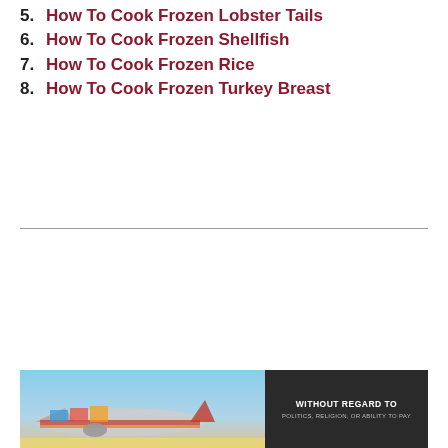5. How To Cook Frozen Lobster Tails
6. How To Cook Frozen Shellfish
7. How To Cook Frozen Rice
8. How To Cook Frozen Turkey Breast
[Figure (photo): Advertisement banner showing an airplane being loaded with cargo, with a dark overlay section reading 'WITHOUT REGARD TO POLITICS, RELIGION, OR ABILITY TO PAY']